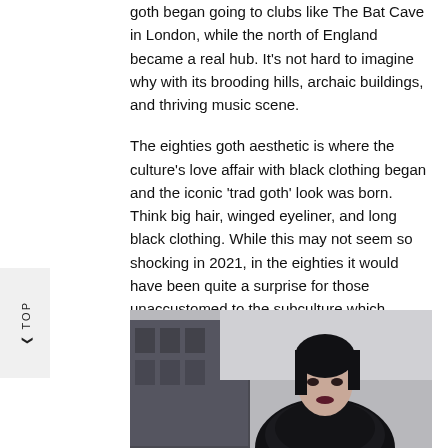goth began going to clubs like The Bat Cave in London, while the north of England became a real hub. It's not hard to imagine why with its brooding hills, archaic buildings, and thriving music scene.
The eighties goth aesthetic is where the culture's love affair with black clothing began and the iconic 'trad goth' look was born. Think big hair, winged eyeliner, and long black clothing. While this may not seem so shocking in 2021, in the eighties it would have been quite a surprise for those unaccustomed to the subculture which caused many goths to be harassed for their appearance.
[Figure (photo): Black and white photo of a goth-styled person with dark hair and makeup, wearing black lace clothing, looking upward against an architectural background.]